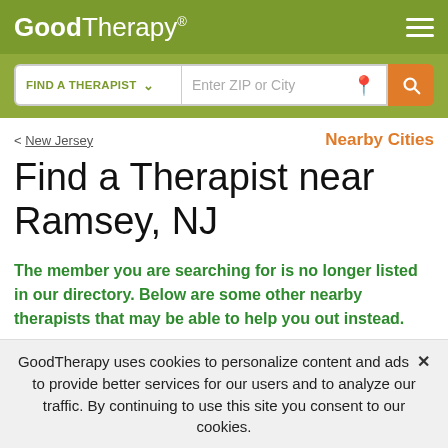GoodTherapy®
[Figure (screenshot): Search bar with FIND A THERAPIST dropdown and Enter ZIP or City input field with search button]
< New Jersey
Nearby Cities
Find a Therapist near Ramsey, NJ
The member you are searching for is no longer listed in our directory. Below are some other nearby therapists that may be able to help you out instead.
GoodTherapy uses cookies to personalize content and ads to provide better services for our users and to analyze our traffic. By continuing to use this site you consent to our cookies.